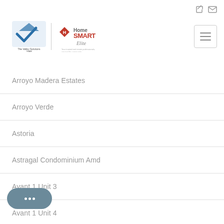[Figure (logo): The Valley Solutions Team logo combined with HomeSmart Elite logo]
Arroyo Madera Estates
Arroyo Verde
Astoria
Astragal Condominium Amd
Avant 1 Unit 3
Avant 1 Unit 4
Avant 1 Unit 5
Aventura Condominium Amd